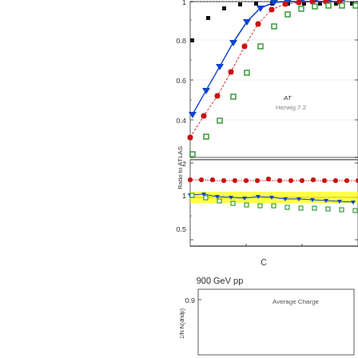[Figure (continuous-plot): Top partial chart (cropped): Plot showing efficiency or fraction vs some variable. Y-axis ranges from 0.4 to 1. Data series include black filled squares, blue filled triangles, red filled circles (dotted line), and green open squares. Legend shows ATLAS and Herwig 7.2 labels. Bottom panel shows ratio to ATLAS, y-axis from 0.5 to 2, with x-axis tick at 2 and 4.]
[Figure (continuous-plot): Bottom partial chart (cropped, only top portion visible): Chart for 900 GeV pp collisions. Y-axis label '1/N d(dndp)' with value 0.9 visible. Text 'Average Charge' visible in upper right. The chart appears to show Average Charged particle multiplicity or similar distribution.]